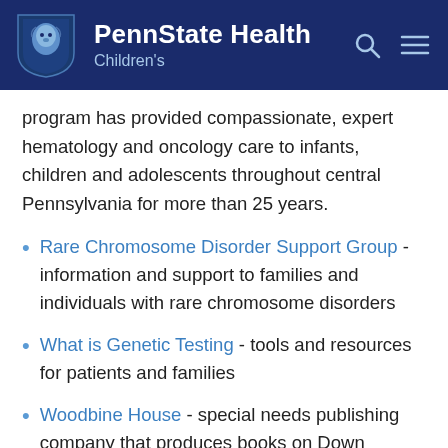[Figure (logo): Penn State Health Children's logo — navy blue header with lion mascot shield, bold white text 'PennState Health' and subtitle 'Children's', search and menu icons on right]
program has provided compassionate, expert hematology and oncology care to infants, children and adolescents throughout central Pennsylvania for more than 25 years.
Rare Chromosome Disorder Support Group - information and support to families and individuals with rare chromosome disorders
What is Genetic Testing - tools and resources for patients and families
Woodbine House - special needs publishing company that produces books on Down